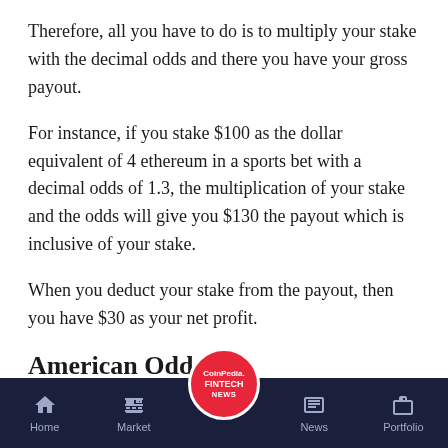Therefore, all you have to do is to multiply your stake with the decimal odds and there you have your gross payout.
For instance, if you stake $100 as the dollar equivalent of 4 ethereum in a sports bet with a decimal odds of 1.3, the multiplication of your stake and the odds will give you $130 the payout which is inclusive of your stake.
When you deduct your stake from the payout, then you have $30 as your net profit.
American Odds
Because of its popularity in the United States, the American odds are also christened the Moneyline odds or US odds. This type of odds is also quite friendly... at is represented is always
[Figure (logo): CoinPedia Fintech News circular logo in red, overlaid on navigation bar]
Home | Market | [CoinPedia Fintech News] | News | Portfolio